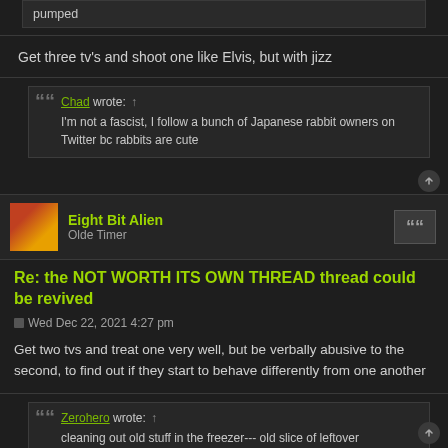pumped
Get three tv's and shoot one like Elvis, but with jizz
Chad wrote: ↑
I'm not a fascist, I follow a bunch of Japanese rabbit owners on Twitter bc rabbits are cute
Eight Bit Alien
Olde Timer
Re: the NOT WORTH ITS OWN THREAD thread could be revived
Wed Dec 22, 2021 4:27 pm
Get two tvs and treat one very well, but be verbally abusive to the second, to find out if they start to behave differently from one another
Zerohero wrote: ↑
cleaning out old stuff in the freezer--- old slice of leftover pizza..boom eaten back to life